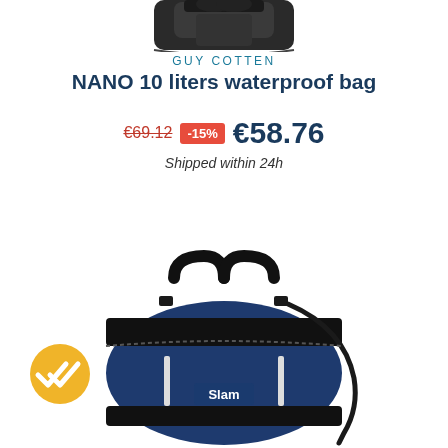[Figure (photo): Top portion of a dark waterproof bag, partially cropped at the top of the page]
GUY COTTEN
NANO 10 liters waterproof bag
€69.12  -15%  €58.76
Shipped within 24h
[Figure (photo): Navy blue Slam duffel bag with black handles and straps, white reflective strips, displayed on white background]
[Figure (logo): Yellow circular badge with a white double-checkmark icon]